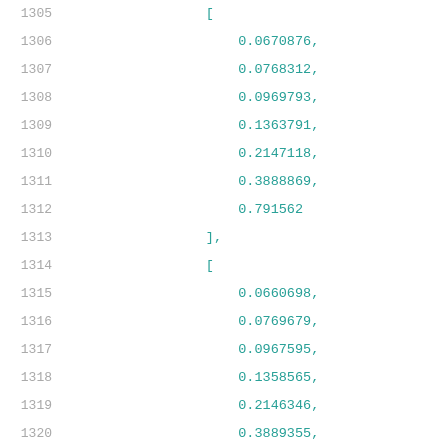1305  [
1306      0.0670876,
1307      0.0768312,
1308      0.0969793,
1309      0.1363791,
1310      0.2147118,
1311      0.3888869,
1312      0.791562
1313  ],
1314  [
1315      0.0660698,
1316      0.0769679,
1317      0.0967595,
1318      0.1358565,
1319      0.2146346,
1320      0.3889355,
1321      0.7916119
1322  ],
1323  [
1324      0.0662744,
1325      0.0759437,
1326      0.0966308,